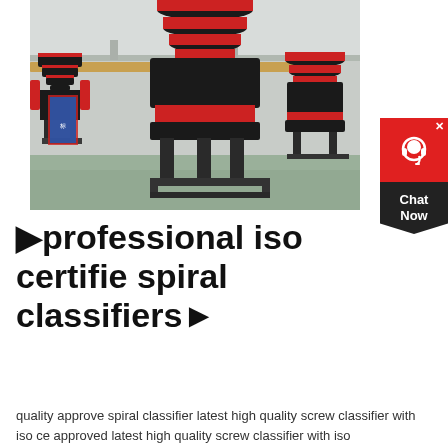[Figure (photo): Industrial cone crushers (mining/aggregate machines) with black and red banding on metal frames, displayed in a factory/warehouse setting with high ceiling and overhead crane visible.]
▾professional iso certifie spiral classifiers▸
quality approve spiral classifier latest high quality screw classifier with iso ce approved latest high quality screw classifier with iso